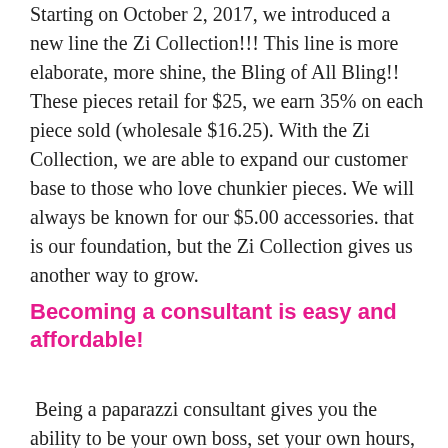Starting on October 2, 2017, we introduced a new line the Zi Collection!!! This line is more elaborate, more shine, the Bling of All Bling!!  These pieces retail for $25, we earn 35% on each piece sold (wholesale $16.25). With the Zi Collection, we are able to expand our customer base to those who love chunkier pieces. We will always be known for our $5.00 accessories. that is our foundation, but the Zi Collection gives us another way to grow.
Becoming a consultant is easy and affordable!
Being a paparazzi consultant gives you the ability to be your own boss, set your own hours, and still be...